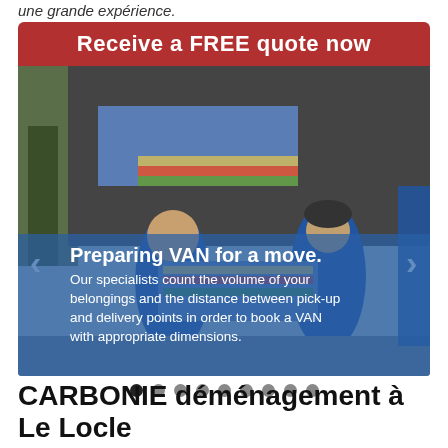une grande expérience.
Receive a FREE quote now
[Figure (photo): Two movers in blue uniforms loading items into a van, with text overlay: 'Preparing VAN for a move. Our specialists count the volume of your belongings and the distance between pick-up and delivery points in order to book a VAN with appropriate dimensions.']
Preparing VAN for a move. Our specialists count the volume of your belongings and the distance between pick-up and delivery points in order to book a VAN with appropriate dimensions.
CARBONIE déménagement à Le Locle